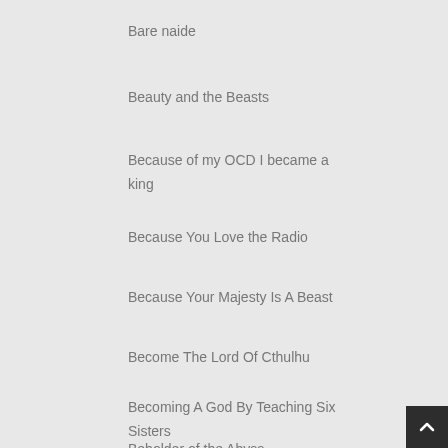Bare naide
Beauty and the Beasts
Because of my OCD I became a king
Because You Love the Radio
Because Your Majesty Is A Beast
Become The Lord Of Cthulhu
Becoming A God By Teaching Six Sisters
Beholder of the Abyss